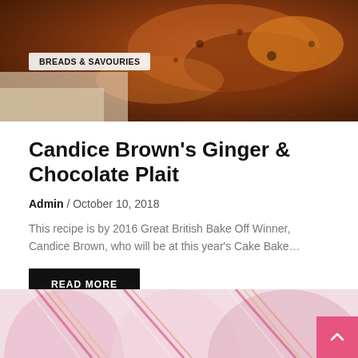[Figure (photo): Close-up photo of baked bread or pastry with caramelized toppings, likely the Ginger & Chocolate Plait, with a 'BREADS & SAVOURIES' category badge overlaid in the top-left area]
Candice Brown's Ginger & Chocolate Plait
Admin / October 10, 2018
This recipe is by 2016 Great British Bake Off Winner, Candice Brown, who will be at this year's Cake Bake…
READ MORE
[Figure (photo): Close-up photo of colorful striped meringue or cream swirls in pink, red, yellow, and cream tones]